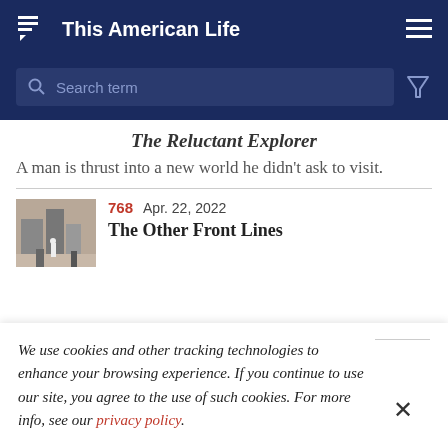This American Life
Search term
The Reluctant Explorer
A man is thrust into a new world he didn't ask to visit.
768 Apr. 22, 2022
The Other Front Lines
We use cookies and other tracking technologies to enhance your browsing experience. If you continue to use our site, you agree to the use of such cookies. For more info, see our privacy policy.